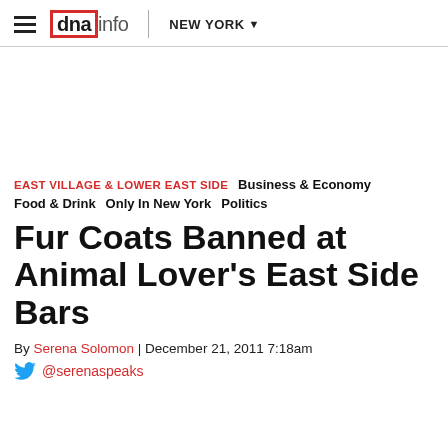dnainfo NEW YORK
EAST VILLAGE & LOWER EAST SIDE  Business & Economy  Food & Drink  Only In New York  Politics
Fur Coats Banned at Animal Lover's East Side Bars
By Serena Solomon | December 21, 2011 7:18am
@serenaspeaks